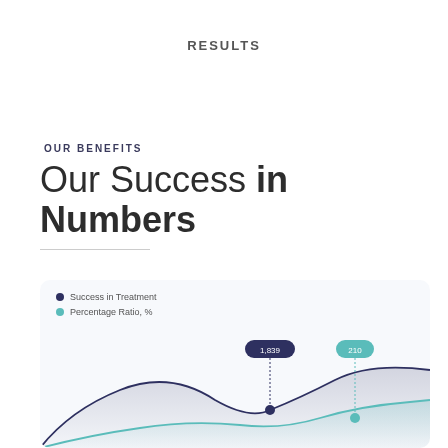RESULTS
OUR BENEFITS
Our Success in Numbers
[Figure (continuous-plot): Area/line chart with two series: 'Success in Treatment' (dark navy line with filled area) and 'Percentage Ratio, %' (teal line with filled area). Chart shows two data point markers labeled '1,839' (navy pill on dark series) and '210' (teal pill on teal series). The curves are smooth wave shapes partially visible as the chart is cropped at the bottom of the page.]